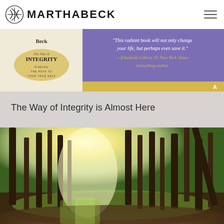MARTHABECK
[Figure (photo): Book cover banner for 'The Way of Integrity' by Martha Beck with purple background and a quote from Elizabeth Gilbert: 'This radiant book will not only change your life, but perhaps even save it.' — Elizabeth Gilbert, #1 New York Times bestselling author]
The Way of Integrity is Almost Here
[Figure (photo): Sunlit forest path with tall pine trees, green undergrowth, and golden light streaming through the trees onto a leaf-covered forest floor]